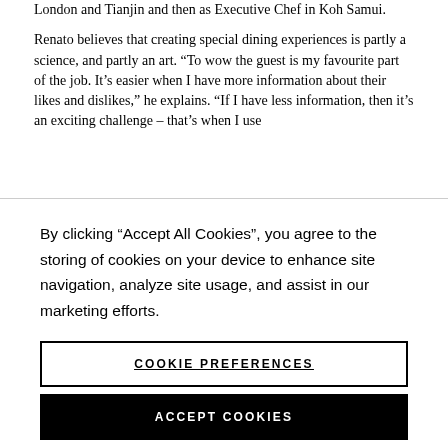London and Tianjin and then as Executive Chef in Koh Samui.

Renato believes that creating special dining experiences is partly a science, and partly an art. “To wow the guest is my favourite part of the job. It’s easier when I have more information about their likes and dislikes,” he explains. “If I have less information, then it’s an exciting challenge – that’s when I use…”
By clicking “Accept All Cookies”, you agree to the storing of cookies on your device to enhance site navigation, analyze site usage, and assist in our marketing efforts.
COOKIE PREFERENCES
ACCEPT COOKIES